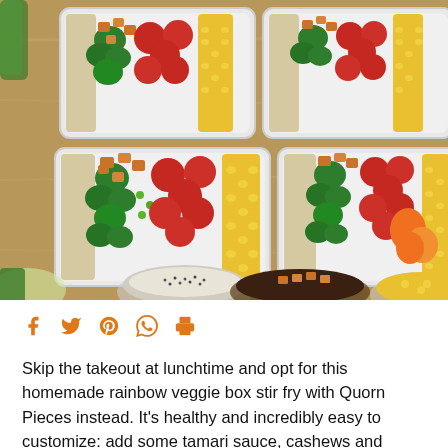[Figure (photo): Overhead view of four meal prep containers filled with rice, broccoli, cherry tomatoes, corn, peas, and Quorn pieces on a wooden surface, with bowls of seeds and corn nearby]
[Figure (infographic): Social sharing icons row: Facebook, Twitter, Pinterest, WhatsApp, Print in orange]
Skip the takeout at lunchtime and opt for this homemade rainbow veggie box stir fry with Quorn Pieces instead. It's healthy and incredibly easy to customize: add some tamari sauce, cashews and sriracha for an Asian twist or simply replace the rice with your favourite toppings and swap for your protein